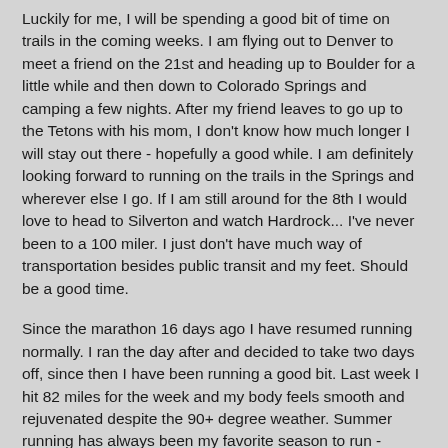Luckily for me, I will be spending a good bit of time on trails in the coming weeks.  I am flying out to Denver to meet a friend on the 21st and heading up to Boulder for a little while and then down to Colorado Springs and camping a few nights.  After my friend leaves to go up to the Tetons with his mom, I don't know how much longer I will stay out there - hopefully a good while.  I am definitely looking forward to running on the trails in the Springs and wherever else I go.  If I am still around for the 8th I would love to head to Silverton and watch Hardrock... I've never been to a 100 miler.  I just don't have much way of transportation besides public transit and my feet.  Should be a good time.
Since the marathon 16 days ago I have resumed running normally.  I ran the day after and decided to take two days off, since then I have been running a good bit.  Last week I hit 82 miles for the week and my body feels smooth and rejuvenated despite the 90+ degree weather.  Summer running has always been my favorite season to run - probably because its a time to just run mileage and no workouts or races.  Now that college running is over, I guess...